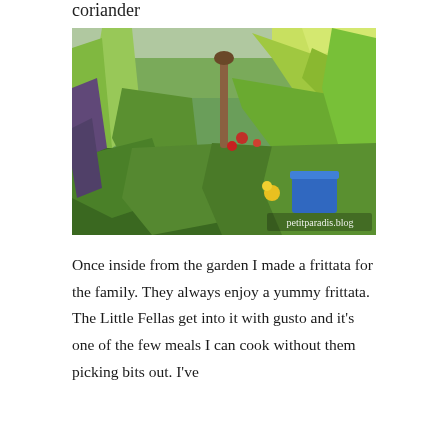coriander
[Figure (photo): A lush garden bed filled with large green tropical-looking plants including canna lilies and other leafy vegetables. A garden tool handle is visible in the center. A blue planter pot is visible on the right side. Small red and yellow flowers are visible among the foliage. A watermark reads 'petitparadis.blog' in the lower right corner.]
Once inside from the garden I made a frittata for the family. They always enjoy a yummy frittata. The Little Fellas get into it with gusto and it's one of the few meals I can cook without them picking bits out. I've